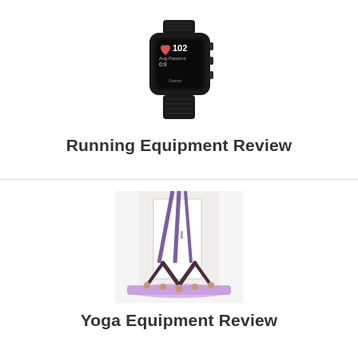[Figure (photo): A black Garmin smartwatch displaying heart rate 102 and other running metrics on its screen, shown at a slight angle.]
Running Equipment Review
[Figure (photo): A person performing an aerial yoga pose using purple sling/hammock straps attached to a door, bending forward on a purple yoga mat in a white room.]
Yoga Equipment Review